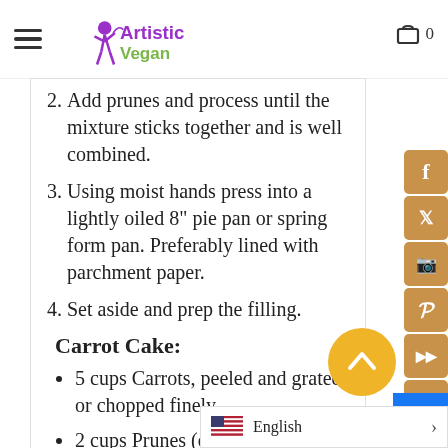Artistic Vegan — navigation header with logo and cart
2. Add prunes and process until the mixture sticks together and is well combined.
3. Using moist hands press into a lightly oiled 8" pie pan or spring form pan. Preferably lined with parchment paper.
4. Set aside and prep the filling.
Carrot Cake:
5 cups Carrots, peeled and grated or chopped finely
2 cups Prunes (or Dates)
1 1/2 tbsp Potato [Starch] (not flour!)